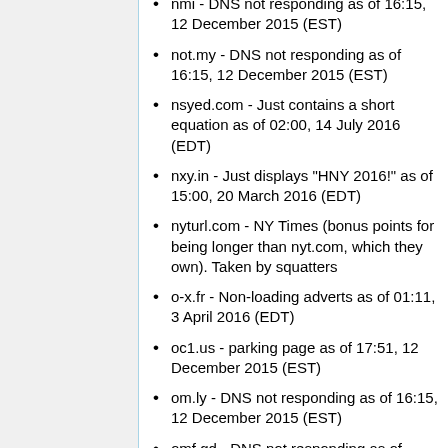nmi - DNS not responding as of 16:15, 12 December 2015 (EST)
not.my - DNS not responding as of 16:15, 12 December 2015 (EST)
nsyed.com - Just contains a short equation as of 02:00, 14 July 2016 (EDT)
nxy.in - Just displays "HNY 2016!" as of 15:00, 20 March 2016 (EDT)
nyturl.com - NY Times (bonus points for being longer than nyt.com, which they own). Taken by squatters
o-x.fr - Non-loading adverts as of 01:11, 3 April 2016 (EDT)
oc1.us - parking page as of 17:51, 12 December 2015 (EST)
om.ly - DNS not responding as of 16:15, 12 December 2015 (EST)
omf.gd - DNS not responding as of 01:53, 9 December 2015 (EST) ;